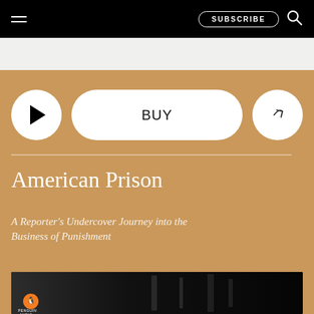SUBSCRIBE
American Prison
A Reporter's Undercover Journey into the Business of Punishment
[Figure (screenshot): Book cover thumbnail for American Prison audiobook by Penguin Audio, showing a dark black-and-white image of hands, with the Penguin Audio logo in the bottom-left corner.]